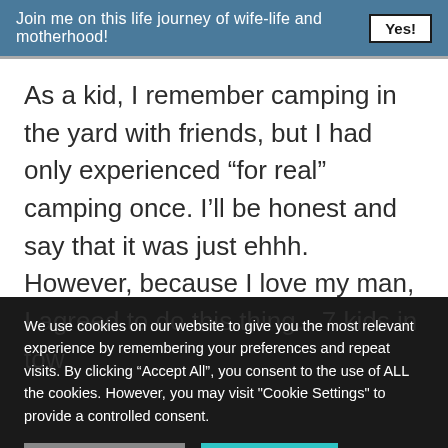Join me on this life journey of wife-life and motherhood! Yes!
As a kid, I remember camping in the yard with friends, but I had only experienced “for real” camping once. I’ll be honest and say that it was just ehhh. However, because I love my man, I agreed to do this thing…7 kids in tow.
We use cookies on our website to give you the most relevant experience by remembering your preferences and repeat visits. By clicking “Accept All”, you consent to the use of ALL the cookies. However, you may visit "Cookie Settings" to provide a controlled consent.
Cookie Settings  Accept All